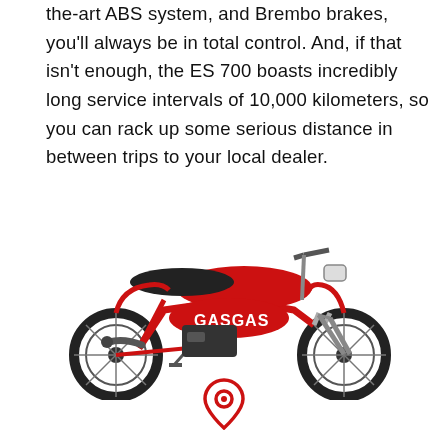the-art ABS system, and Brembo brakes, you'll always be in total control. And, if that isn't enough, the ES 700 boasts incredibly long service intervals of 10,000 kilometers, so you can rack up some serious distance in between trips to your local dealer.
[Figure (photo): A red GASGAS ES 700 dual-sport/enduro motorcycle shown from the left side on a white background, featuring knobby tires, red frame, black seat, chrome exhaust, and GASGAS branding on the side panels.]
[Figure (illustration): A red map pin / location marker icon centered at the bottom of the page.]